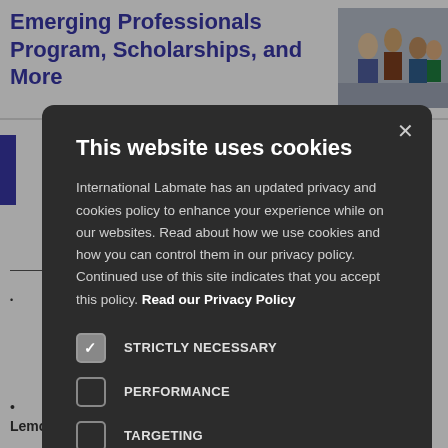Emerging Professionals Program, Scholarships, and More
[Figure (photo): Group of professionals in a meeting or workshop setting]
[Figure (screenshot): Cookie consent modal dialog on a website. Title: This website uses cookies. Body: International Labmate has an updated privacy and cookies policy to enhance your experience while on our websites. Read about how we use cookies and how you can control them in our privacy policy. Continued use of this site indicates that you accept this policy. Read our Privacy Policy. Checkboxes: STRICTLY NECESSARY (checked), PERFORMANCE (unchecked), TARGETING (unchecked), FUNCTIONALITY (unchecked). Buttons: I AGREE, DECLINE ALL, SHOW DETAILS.]
renced in s
Particles on
ell, Sara
ation of icles Using Lemon Peel Extract.